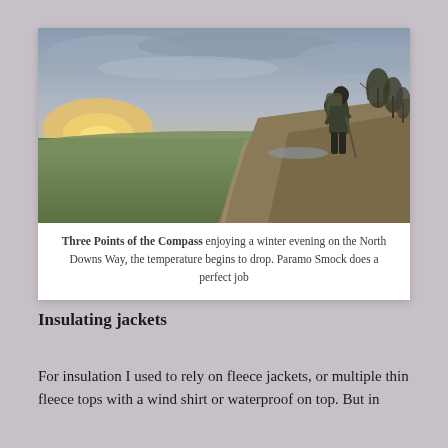[Figure (photo): A hiker with a large backpack and trekking pole standing on a hillside on the North Downs Way, with a wide countryside valley view and sunset sky behind them. Trees to the right, green fields below.]
Three Points of the Compass enjoying a winter evening on the North Downs Way, the temperature begins to drop. Paramo Smock does a perfect job
Insulating jackets
For insulation I used to rely on fleece jackets, or multiple thin fleece tops with a wind shirt or waterproof on top. But in